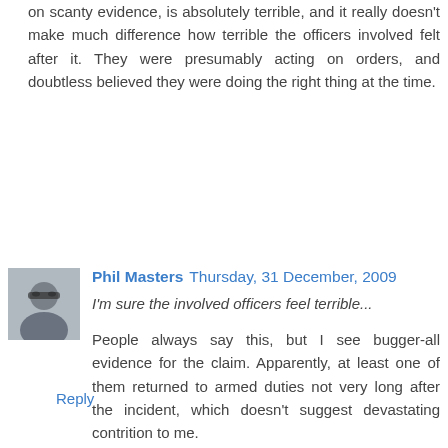on scanty evidence, is absolutely terrible, and it really doesn't make much difference how terrible the officers involved felt after it. They were presumably acting on orders, and doubtless believed they were doing the right thing at the time.
Reply
[Figure (photo): Avatar photo of Phil Masters, a man with sunglasses]
Phil Masters  Thursday, 31 December, 2009
I'm sure the involved officers feel terrible...
People always say this, but I see bugger-all evidence for the claim. Apparently, at least one of them returned to armed duties not very long after the incident, which doesn't suggest devastating contrition to me.
I'd like to think that I'd feel terrible if I killed someone, however accidentally, but why should I assume that everyone feels like me about everything?
(Personally, I think that any armed police officer who kills someone in the course of their duties should be